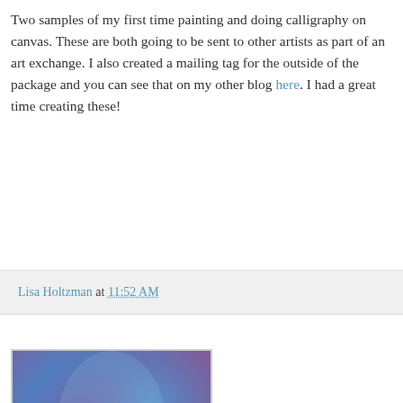Two samples of my first time painting and doing calligraphy on canvas. These are both going to be sent to other artists as part of an art exchange. I also created a mailing tag for the outside of the package and you can see that on my other blog here. I had a great time creating these!
Lisa Holtzman at 11:52 AM
[Figure (photo): A colorful mixed media canvas artwork with blue, purple, and pink tones featuring white calligraphy text reading 'We are each of us angels with only one wing and we can only fly by embracing one another']